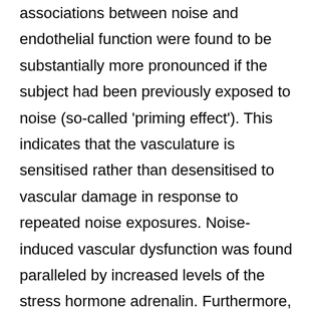associations between noise and endothelial function were found to be substantially more pronounced if the subject had been previously exposed to noise (so-called 'priming effect'). This indicates that the vasculature is sensitised rather than desensitised to vascular damage in response to repeated noise exposures. Noise-induced vascular dysfunction was found paralleled by increased levels of the stress hormone adrenalin. Furthermore, the negative association between noise and endothelial function was more pronounced in patients with established coronary artery disease. Importantly, no correlation was observed between noise sensitivity or annoyance, suggesting that endothelial function will deteriorate in response to night-time noise, independent of whether there is an annoyance reaction or not.